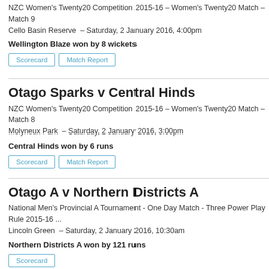NZC Women's Twenty20 Competition 2015-16 – Women's Twenty20 Match – Match 9
Cello Basin Reserve  –  Saturday, 2 January 2016, 4:00pm
Wellington Blaze won by 8 wickets
Scorecard   Match Report
Otago Sparks v Central Hinds
NZC Women's Twenty20 Competition 2015-16 – Women's Twenty20 Match – Match 8
Molyneux Park  –  Saturday, 2 January 2016, 3:00pm
Central Hinds won by 6 runs
Scorecard   Match Report
Otago A v Northern Districts A
National Men's Provincial A Tournament - One Day Match - Three Power Play Rule 2015-16 ...
Lincoln Green  –  Saturday, 2 January 2016, 10:30am
Northern Districts A won by 121 runs
Scorecard
Central Districts A v Auckland A
National Men's Provincial A Tournament - One Day Match - Three Power Play Rule 2015-16 ...
Bert Sutcliffe Oval  –  Saturday, 2 January 2016, 10:00am
Auckland A won by 3 wickets